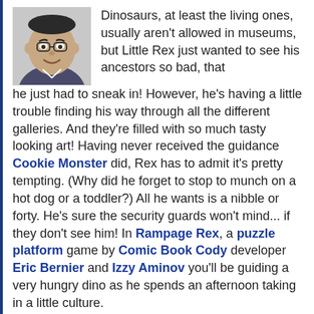[Figure (photo): Headshot photo of a man smiling, grayscale]
Dinosaurs, at least the living ones, usually aren't allowed in museums, but Little Rex just wanted to see his ancestors so bad, that he just had to sneak in! However, he's having a little trouble finding his way through all the different galleries. And they're filled with so much tasty looking art! Having never received the guidance Cookie Monster did, Rex has to admit it's pretty tempting. (Why did he forget to stop to munch on a hot dog or a toddler?) All he wants is a nibble or forty. He's sure the security guards won't mind... if they don't see him! In Rampage Rex, a puzzle platform game by Comic Book Cody developer Eric Bernier and Izzy Aminov you'll be guiding a very hungry dino as he spends an afternoon taking in a little culture.
Move Rex with the
[Figure (screenshot): Screenshot of game showing green dinosaur characters against a grey brick wall background]